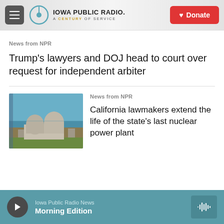Iowa Public Radio — A Century of Service | Donate
News from NPR
Trump's lawyers and DOJ head to court over request for independent arbiter
News from NPR
[Figure (photo): Exterior view of Diablo Canyon nuclear power plant with dome structures near ocean coastline]
California lawmakers extend the life of the state's last nuclear power plant
Iowa Public Radio News — Morning Edition